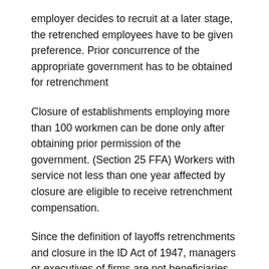employer decides to recruit at a later stage, the retrenched employees have to be given preference. Prior concurrence of the appropriate government has to be obtained for retrenchment
Closure of establishments employing more than 100 workmen can be done only after obtaining prior permission of the government. (Section 25 FFA) Workers with service not less than one year affected by closure are eligible to receive retrenchment compensation.
Since the definition of layoffs retrenchments and closure in the ID Act of 1947, managers or executives of firms are not beneficiaries of any compensation under the act. However, if the contract of employment specifies any severance payment, it